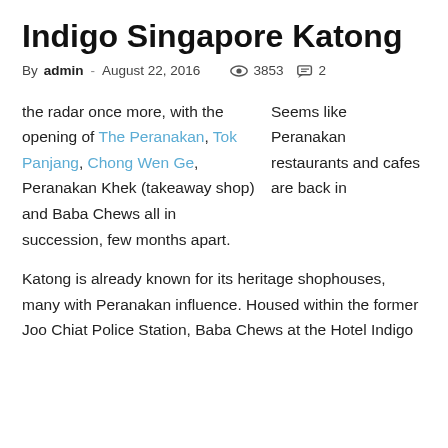Indigo Singapore Katong
By admin - August 22, 2016  👁 3853  💬 2
Seems like Peranakan restaurants and cafes are back in the radar once more, with the opening of The Peranakan, Tok Panjang, Chong Wen Ge, Peranakan Khek (takeaway shop) and Baba Chews all in succession, few months apart.
Katong is already known for its heritage shophouses, many with Peranakan influence. Housed within the former Joo Chiat Police Station, Baba Chews at the Hotel Indigo